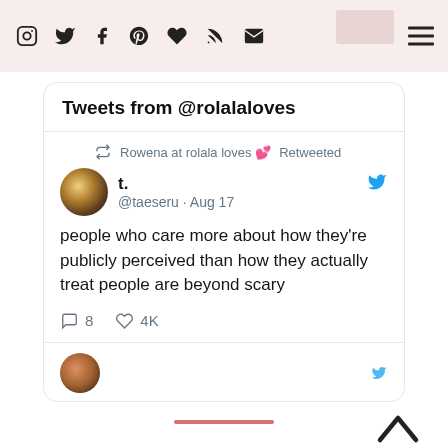Social media icons header bar with Instagram, Twitter, Facebook, Pinterest, heart, RSS, email icons and hamburger menu
Tweets from @rolalaloves
Rowena at rolala loves 💕 Retweeted
t.
@taeseru · Aug 17
people who care more about how they're publicly perceived than how they actually treat people are beyond scary
8  4K
BLOG ARCHIVE